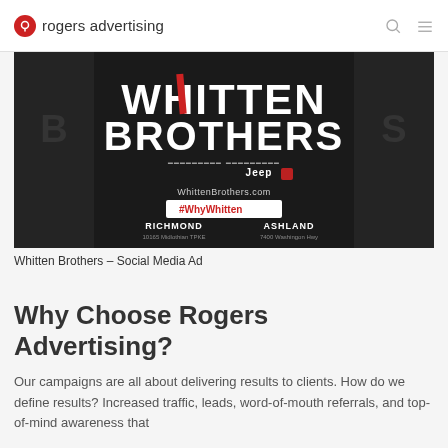rogers advertising
[Figure (photo): Whitten Brothers Jeep dealership social media advertisement. Dark background with large white bold text 'WHITTEN BROTHERS' and Jeep logo. Shows website WhittenBrothers.com and hashtag #WhyWhitten in a red box. Lists two locations: RICHMOND and ASHLAND.]
Whitten Brothers – Social Media Ad
Why Choose Rogers Advertising?
Our campaigns are all about delivering results to clients.  How do we define results?  Increased traffic, leads, word-of-mouth referrals, and top-of-mind awareness that